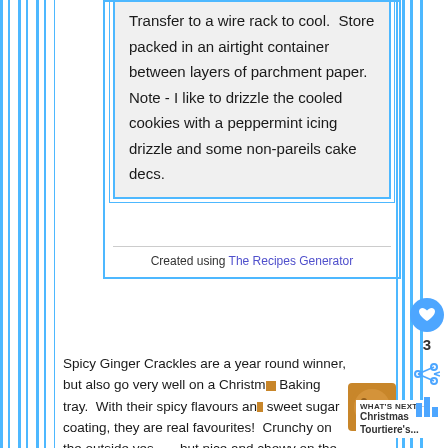Transfer to a wire rack to cool.  Store packed in an airtight container between layers of parchment paper. Note - I like to drizzle the cooled cookies with a peppermint icing drizzle and some non-pareils cake decs.
Created using The Recipes Generator
Spicy Ginger Crackles are a year round winner, but also go very well on a Christmas Baking tray.  With their spicy flavours and sweet sugar coating, they are real favourites!  Crunchy on the outside yes . . . but nice and chewy on the insides.  Just the
WHAT'S NEXT → Christmas Tourtiere's...